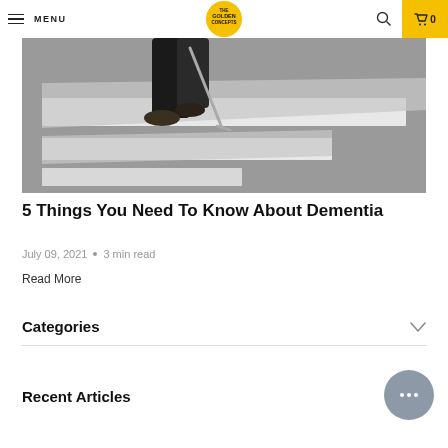MENU | THE GOLDEN CONCEPTS | 0
[Figure (photo): Person's feet with a walking cane crossing a zebra crossing/crosswalk, photographed from above on grey asphalt]
5 Things You Need To Know About Dementia
July 09, 2021 • 3 min read
Read More
Categories
Recent Articles